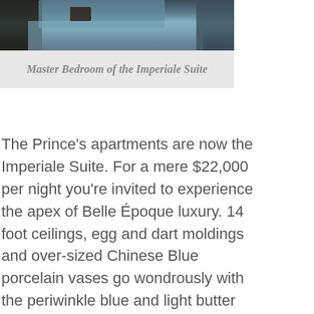[Figure (photo): Interior photo of the Master Bedroom of the Imperiale Suite, showing furniture and a light blue rug/carpet.]
Master Bedroom of the Imperiale Suite
The Prince's apartments are now the Imperiale Suite. For a mere $22,000 per night you're invited to experience the apex of Belle Époque luxury. 14 foot ceilings, egg and dart moldings and over-sized Chinese Blue porcelain vases go wondrously with the periwinkle blue and light butter yellow of the walls, carpets and furnishings. The suite consists of a grand sitting room, dining room, private kitchen and separate service entrance. The walk -through closets are cavernous and done in pecan floor-to-